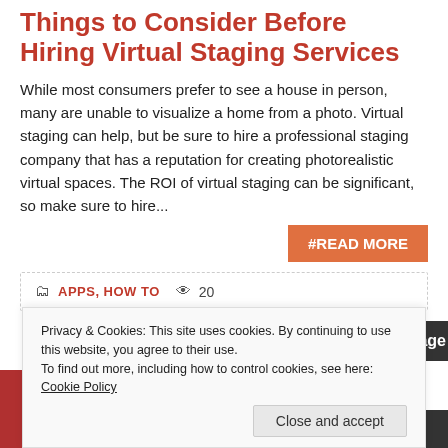Things to Consider Before Hiring Virtual Staging Services
While most consumers prefer to see a house in person, many are unable to visualize a home from a photo. Virtual staging can help, but be sure to hire a professional staging company that has a reputation for creating photorealistic virtual spaces. The ROI of virtual staging can be significant, so make sure to hire...
#READ MORE
APPS, HOW TO  20
1  2  3  96  Next Page »
Privacy & Cookies: This site uses cookies. By continuing to use this website, you agree to their use.
To find out more, including how to control cookies, see here: Cookie Policy
Close and accept